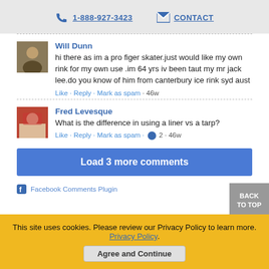1-888-927-3423  CONTACT
Will Dunn
hi there as im a pro figer skater.just would like my own rink for my own use .im 64 yrs iv been taut my mr jack lee.do you know of him from canterbury ice rink syd aust
Like · Reply · Mark as spam · 46w
Fred Levesque
What is the difference in using a liner vs a tarp?
Like · Reply · Mark as spam · 👍 2 · 46w
Load 3 more comments
Facebook Comments Plugin
BACK TO TOP
This site uses cookies. Please review our Privacy Policy to learn more. Privacy Policy.
Agree and Continue